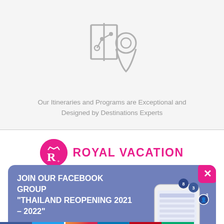[Figure (illustration): Map and location pin icon in light gray outline style]
Our Itineraries and Programs are Exceptional and Designed by Destinations Experts
[Figure (logo): Royal Vacation logo: pink circle with stylized R and crown, next to pink text ROYAL VACATION]
[Figure (infographic): Facebook group popup banner: blue-purple background with text JOIN OUR FACEBOOK GROUP THAILAND REOPENING 2021-2022, JOIN NOW button, close X button in pink, and a smartphone illustration on the right]
[Figure (infographic): Social media icons bar at bottom: Facebook, Twitter, Instagram, LinkedIn, Pinterest, TripAdvisor]